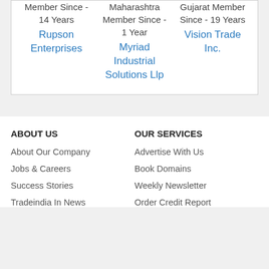Member Since - 14 Years
Rupson Enterprises
Maharashtra Member Since - 1 Year
Myriad Industrial Solutions Llp
Gujarat Member Since - 19 Years
Vision Trade Inc.
ABOUT US
OUR SERVICES
About Our Company
Advertise With Us
Jobs & Careers
Book Domains
Success Stories
Weekly Newsletter
Tradeindia In News
Order Credit Report